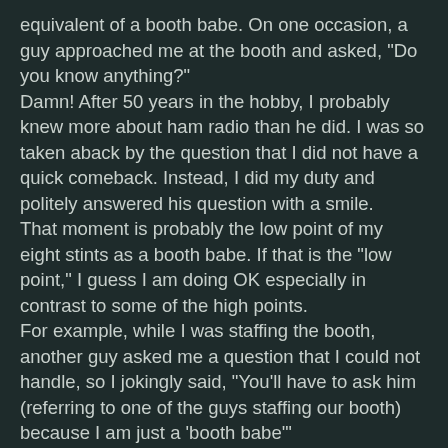equivalent of a booth babe. On one occasion, a guy approached me at the booth and asked, "Do you know anything?"
Damn! After 50 years in the hobby, I probably knew more about ham radio than he did. I was so taken aback by the question that I did not have a quick comeback. Instead, I did my duty and politely answered his question with a smile.
That moment is probably the low point of my eight stints as a booth babe. If that is the "low point," I guess I am doing OK especially in contrast to some of the high points.
For example, while I was staffing the booth, another guy asked me a question that I could not handle, so I jokingly said, "You'll have to ask him (referring to one of the guys staffing our booth) because I am just a 'booth babe'"
His response was, "And a very good 'booth babe'!"
Still another a guy stopped by and remarked that he remembered me from the previous year because I had